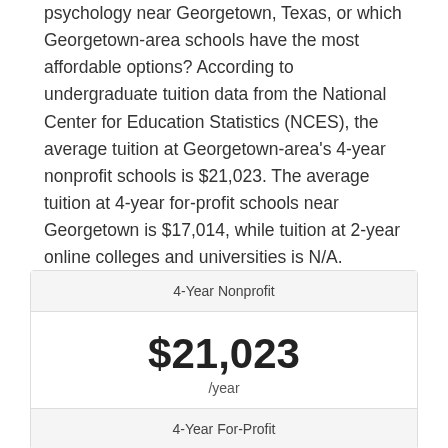psychology near Georgetown, Texas, or which Georgetown-area schools have the most affordable options? According to undergraduate tuition data from the National Center for Education Statistics (NCES), the average tuition at Georgetown-area's 4-year nonprofit schools is $21,023. The average tuition at 4-year for-profit schools near Georgetown is $17,014, while tuition at 2-year online colleges and universities is N/A.
| 4-Year Nonprofit |
| --- |
| $21,023 /year |
| 4-Year For-Profit |